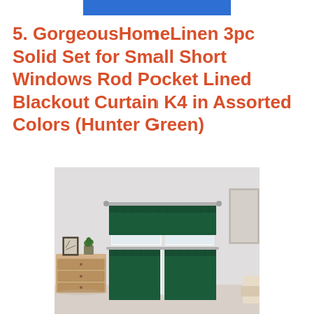5. GorgeousHomeLinen 3pc Solid Set for Small Short Windows Rod Pocket Lined Blackout Curtain K4 in Assorted Colors (Hunter Green)
[Figure (photo): Photo of hunter green blackout curtain set installed on a small window in a light gray room. The set includes a valance at the top and two tier panels below, all in dark hunter green fabric. A wooden dresser with a small plant and picture frame is visible to the left.]